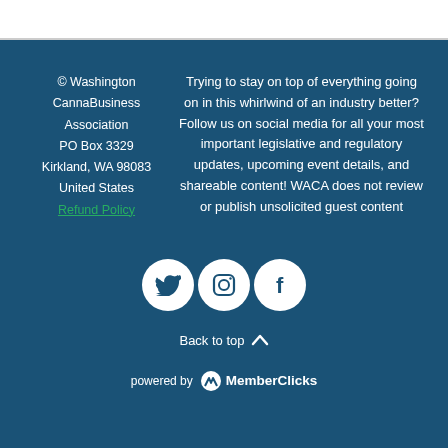© Washington CannaBusiness Association
PO Box 3329
Kirkland, WA 98083
United States
Refund Policy
Trying to stay on top of everything going on in this whirlwind of an industry better? Follow us on social media for all your most important legislative and regulatory updates, upcoming event details, and shareable content! WACA does not review or publish unsolicited guest content
[Figure (illustration): Three circular social media icons: Twitter bird, Instagram camera, Facebook f]
Back to top
powered by MemberClicks